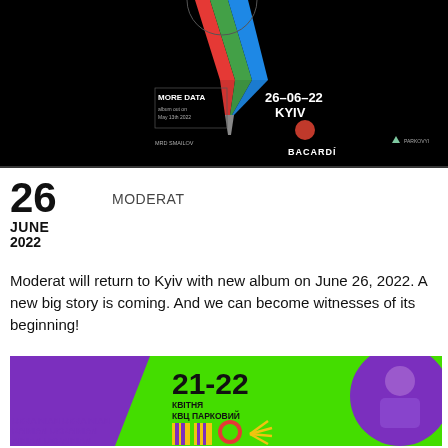[Figure (illustration): Dark concert/event poster for Moderat show on 26-06-22 in Kyiv. Features a funnel shape with colored streams (red, green, blue) on black background, with MORE DATA album text, Bacardi and other sponsor logos.]
26
JUNE
2022
MODERAT
Moderat will return to Kyiv with new album on June 26, 2022. A new big story is coming. And we can become witnesses of its beginning!
[Figure (illustration): Colorful event banner with green and purple background. Shows '21-22' in large bold text, 'КВІТНЯ КВЦ ПАРКОВИЙ' subtitle, decorative colored stripes, circular photo of person, and repeating 'UKRAINIAN' text in purple.]